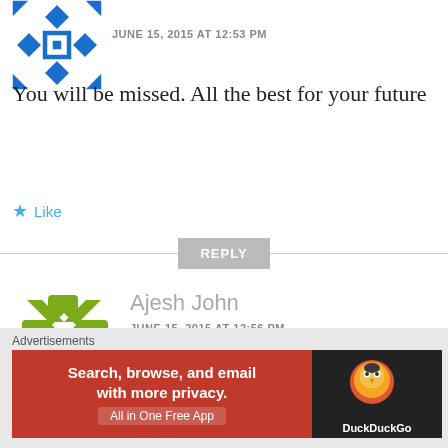[Figure (illustration): Blue decorative avatar icon — geometric diamond/cross pattern in blue and white]
JUNE 15, 2015 AT 12:53 PM
You will be missed. All the best for your future
★ Like
REPLY
[Figure (illustration): Green decorative avatar icon — geometric cross/diamond pattern in olive green and white]
Ajesh John
JUNE 15, 2015 AT 12:56 PM
Its really a sad news as you are
Advertisements
[Figure (infographic): DuckDuckGo advertisement banner: orange/red background with text 'Search, browse, and email with more privacy. All in One Free App' and DuckDuckGo logo on dark right panel]